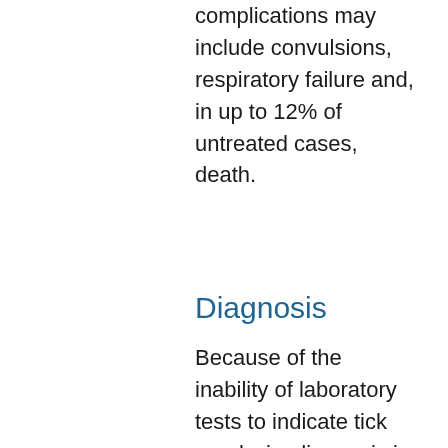complications may include convulsions, respiratory failure and, in up to 12% of untreated cases, death.
Diagnosis
Because of the inability of laboratory tests to indicate tick paralysis, diagnosis is based on symptoms and the rapid improvement of the patient once the engorged tick is removed.
Treatment
Treatment involves simply removing the feeding tick(s). It is important to remove all the mouthparts, since they contain the salivary glands